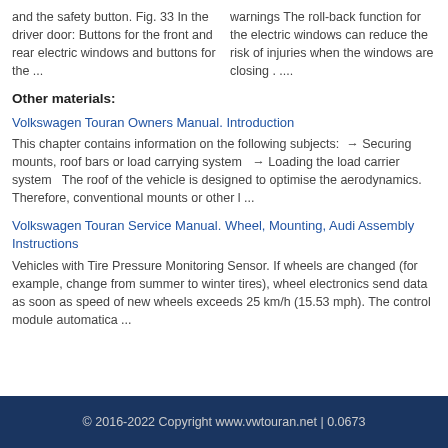and the safety button. Fig. 33 In the driver door: Buttons for the front and rear electric windows and buttons for the ...
warnings The roll-back function for the electric windows can reduce the risk of injuries when the windows are closing . ....
Other materials:
Volkswagen Touran Owners Manual. Introduction
This chapter contains information on the following subjects:  → Securing mounts, roof bars or load carrying system  → Loading the load carrier system  The roof of the vehicle is designed to optimise the aerodynamics. Therefore, conventional mounts or other l ...
Volkswagen Touran Service Manual. Wheel, Mounting, Audi Assembly Instructions
Vehicles with Tire Pressure Monitoring Sensor. If wheels are changed (for example, change from summer to winter tires), wheel electronics send data as soon as speed of new wheels exceeds 25 km/h (15.53 mph). The control module automatica ...
© 2016-2022 Copyright www.vwtouran.net | 0.0673